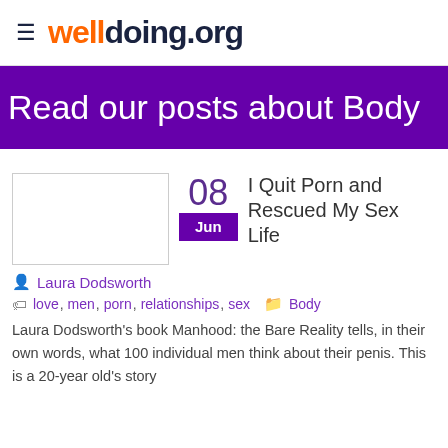welldoing.org
Read our posts about Body
[Figure (photo): Thumbnail image placeholder (empty white box with border)]
08
Jun
I Quit Porn and Rescued My Sex Life
Laura Dodsworth
love, men, porn, relationships, sex   Body
Laura Dodsworth's book Manhood: the Bare Reality tells, in their own words, what 100 individual men think about their penis. This is a 20-year old's story